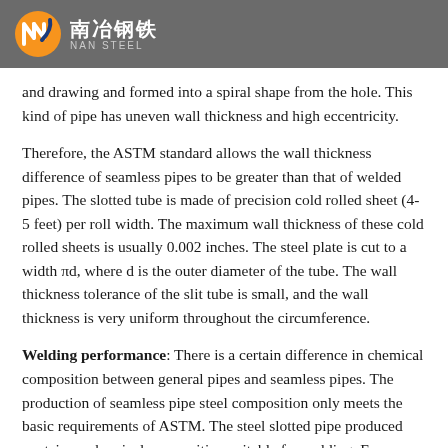南冶钢铁 NAN STEEL
and drawing and formed into a spiral shape from the hole. This kind of pipe has uneven wall thickness and high eccentricity.
Therefore, the ASTM standard allows the wall thickness difference of seamless pipes to be greater than that of welded pipes. The slotted tube is made of precision cold rolled sheet (4-5 feet) per roll width. The maximum wall thickness of these cold rolled sheets is usually 0.002 inches. The steel plate is cut to a width πd, where d is the outer diameter of the tube. The wall thickness tolerance of the slit tube is small, and the wall thickness is very uniform throughout the circumference.
Welding performance: There is a certain difference in chemical composition between general pipes and seamless pipes. The production of seamless pipe steel composition only meets the basic requirements of ASTM. The steel slotted pipe produced contains a chemical composition suitable for welding. For